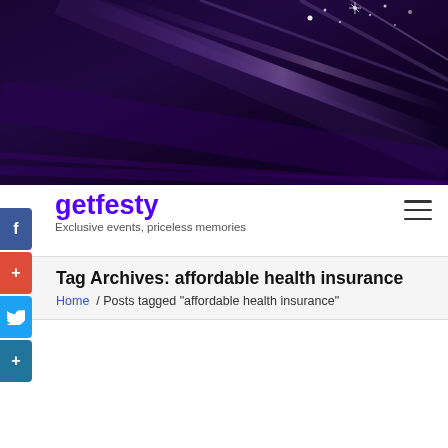[Figure (illustration): Dark purple abstract hero banner with diagonal light streaks and sparkle effects on a deep navy/purple gradient background.]
getfesty
Exclusive events, priceless memories
Tag Archives: affordable health insurance
Home / Posts tagged "affordable health insurance"